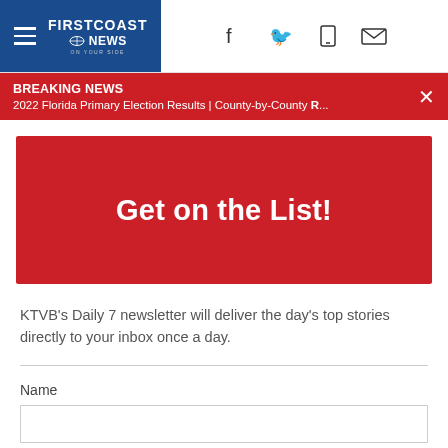FIRSTCOAST NEWS
BREAKING NEWS
2022 Florida Primary Election Results | County-by-County R...
Get on the List!
KTVB's Daily 7 newsletter will deliver the day's top stories directly to your inbox once a day.
Name